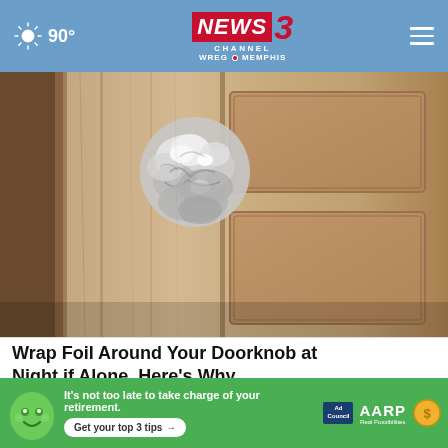90° NEWS3 CHANNEL WREG MEMPHIS
[Figure (photo): Close-up photo of a wooden door knob wrapped in aluminum foil, with a wood-grain door panel visible in background]
Wrap Foil Around Your Doorknob at Night if Alone, Here's Why
Sogoodly
[Figure (infographic): AARP advertisement banner: green background with cartoon face, text 'It's not too late to take charge of your retirement. Get your top 3 tips', Ad Council logo, AARP logo, coin icon]